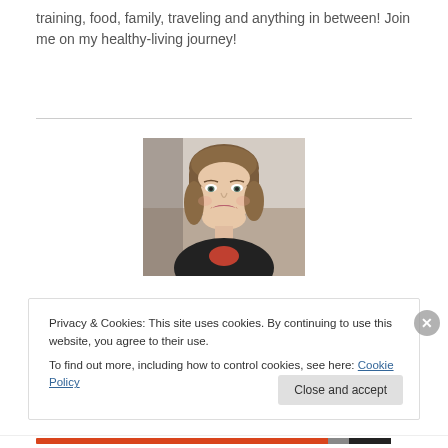training, food, family, traveling and anything in between! Join me on my healthy-living journey!
[Figure (photo): Portrait photo of a woman with a brown bob hairstyle, smiling, wearing a black top and red shirt underneath]
Privacy & Cookies: This site uses cookies. By continuing to use this website, you agree to their use.
To find out more, including how to control cookies, see here: Cookie Policy
Close and accept